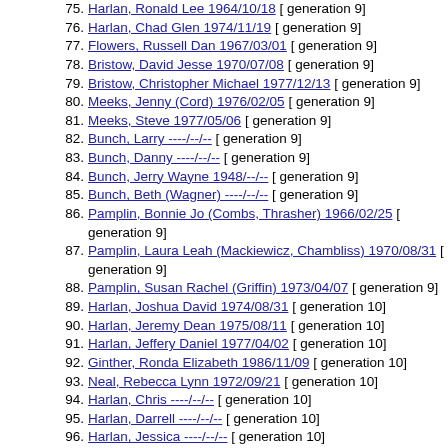75. Harlan, Ronald Lee 1964/10/18 [ generation 9]
76. Harlan, Chad Glen 1974/11/19 [ generation 9]
77. Flowers, Russell Dan 1967/03/01 [ generation 9]
78. Bristow, David Jesse 1970/07/08 [ generation 9]
79. Bristow, Christopher Michael 1977/12/13 [ generation 9]
80. Meeks, Jenny (Cord) 1976/02/05 [ generation 9]
81. Meeks, Steve 1977/05/06 [ generation 9]
82. Bunch, Larry ----/--/-- [ generation 9]
83. Bunch, Danny ----/--/-- [ generation 9]
84. Bunch, Jerry Wayne 1948/--/-- [ generation 9]
85. Bunch, Beth (Wagner) ----/--/-- [ generation 9]
86. Pamplin, Bonnie Jo (Combs, Thrasher) 1966/02/25 [ generation 9]
87. Pamplin, Laura Leah (Mackiewicz, Chambliss) 1970/08/31 [ generation 9]
88. Pamplin, Susan Rachel (Griffin) 1973/04/07 [ generation 9]
89. Harlan, Joshua David 1974/08/31 [ generation 10]
90. Harlan, Jeremy Dean 1975/08/11 [ generation 10]
91. Harlan, Jeffery Daniel 1977/04/02 [ generation 10]
92. Ginther, Ronda Elizabeth 1986/11/09 [ generation 10]
93. Neal, Rebecca Lynn 1972/09/21 [ generation 10]
94. Harlan, Chris ----/--/-- [ generation 10]
95. Harlan, Darrell ----/--/-- [ generation 10]
96. Harlan, Jessica ----/--/-- [ generation 10]
97. Harlan, Casey ----/--/-- [ generation 10]